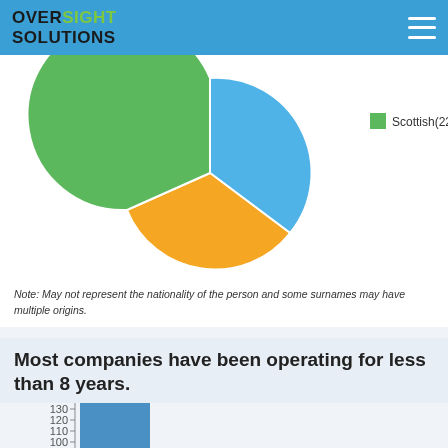OVERSIGHT SOLUTIONS
[Figure (pie-chart): ]
Note: May not represent the nationality of the person and some surnames may have multiple origins.
Most companies have been operating for less than 8 years.
[Figure (bar-chart): ]